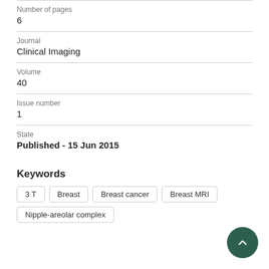Number of pages
6
Journal
Clinical Imaging
Volume
40
Issue number
1
State
Published - 15 Jun 2015
Keywords
3 T
Breast
Breast cancer
Breast MRI
Nipple-areolar complex